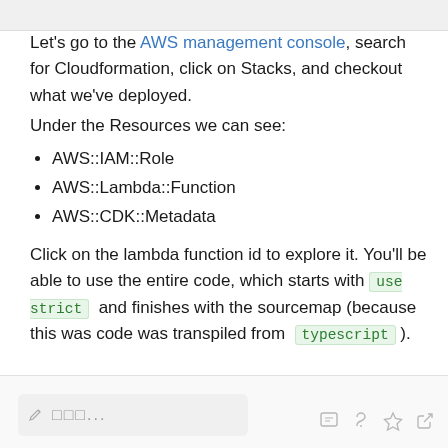Let's go to the AWS management console, search for Cloudformation, click on Stacks, and checkout what we've deployed.
Under the Resources we can see:
AWS::IAM::Role
AWS::Lambda::Function
AWS::CDK::Metadata
Click on the lambda function id to explore it. You'll be able to use the entire code, which starts with use strict and finishes with the sourcemap (because this was code was transpiled from typescript ).